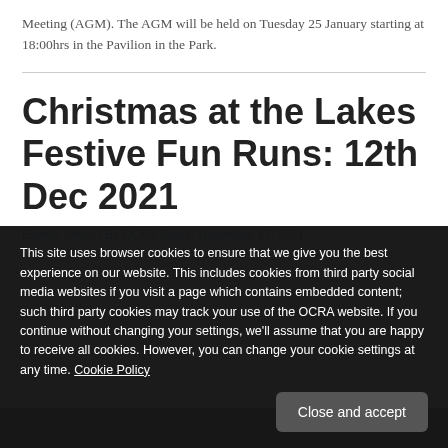Meeting (AGM). The AGM will be held on Tuesday 25 January starting at 18:00hrs in the Pavilion in the Park.
Christmas at the Lakes Festive Fun Runs: 12th Dec 2021
Events, News / By OCRA Sport / November 17, 2021
This site uses browser cookies to ensure that we give you the best experience on our website. This includes cookies from third party social media websites if you visit a page which contains embedded content; such third party cookies may track your use of the OCRA website. If you continue without changing your settings, we'll assume that you are happy to receive all cookies. However, you can change your cookie settings at any time. Cookie Policy
[Figure (photo): Bottom strip showing partial photo of people at a running event]